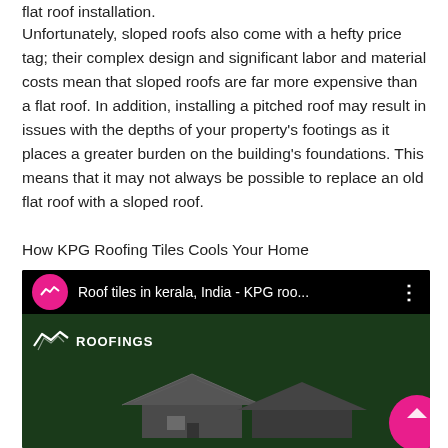flat roof installation.
Unfortunately, sloped roofs also come with a hefty price tag; their complex design and significant labor and material costs mean that sloped roofs are far more expensive than a flat roof. In addition, installing a pitched roof may result in issues with the depths of your property's footings as it places a greater burden on the building's foundations. This means that it may not always be possible to replace an old flat roof with a sloped roof.
How KPG Roofing Tiles Cools Your Home
[Figure (screenshot): YouTube video thumbnail showing KPG Roofings video titled 'Roof tiles in kerala, India - KPG roo...' with a pink channel icon showing a roof outline, three-dot menu, and a rendered 3D house image with dark roof tiles on a green background with the ROOFINGS logo.]